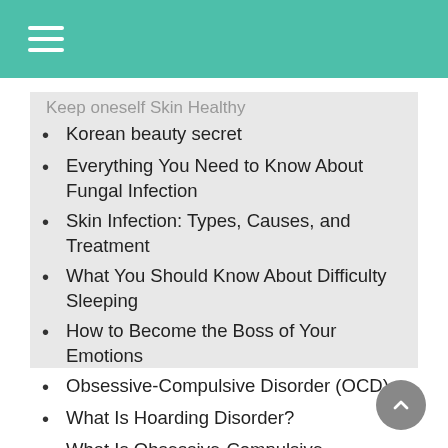Korean beauty secret
Everything You Need to Know About Fungal Infection
Skin Infection: Types, Causes, and Treatment
What You Should Know About Difficulty Sleeping
How to Become the Boss of Your Emotions
Obsessive-Compulsive Disorder (OCD)
What Is Hoarding Disorder?
What Is Obsessive-Compulsive Disorder?
Dust the monsoon dirt off your feet with these 6 tips to keep them dry and clean